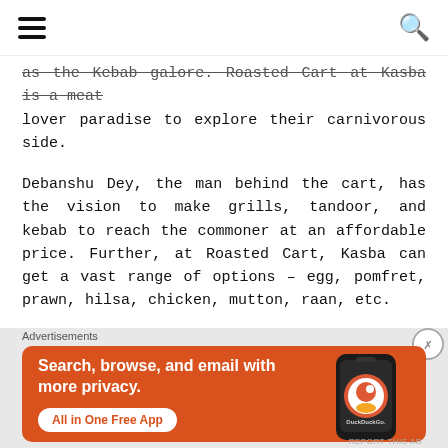[hamburger menu] [search icon]
as the Kebab galore. Roasted Cart at Kasba is a meat lover paradise to explore their carnivorous side.
Debanshu Dey, the man behind the cart, has the vision to make grills, tandoor, and kebab to reach the commoner at an affordable price. Further, at Roasted Cart, Kasba can get a vast range of options – egg, pomfret, prawn, hilsa, chicken, mutton, raan, etc.
[Figure (infographic): Social share icons: Facebook, Twitter, Pinterest, LinkedIn, Email, Tumblr, Google, Reddit]
Advertisements
[Figure (infographic): DuckDuckGo advertisement banner with orange background. Text: Search, browse, and email with more privacy. All in One Free App. Shows a smartphone with DuckDuckGo app.]